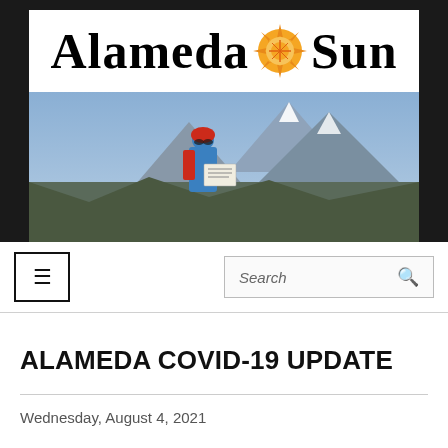[Figure (logo): Alameda Sun newspaper logo with blackletter gothic text and orange sun compass rose icon in the center, on white background inside a dark banner]
[Figure (photo): A person wearing a red helmet, blue jacket, and backpack reading a newspaper on a rocky mountain peak with snowy mountain scenery in the background]
[Figure (screenshot): Navigation bar with hamburger menu icon on the left and a search box on the right]
ALAMEDA COVID-19 UPDATE
Wednesday, August 4, 2021